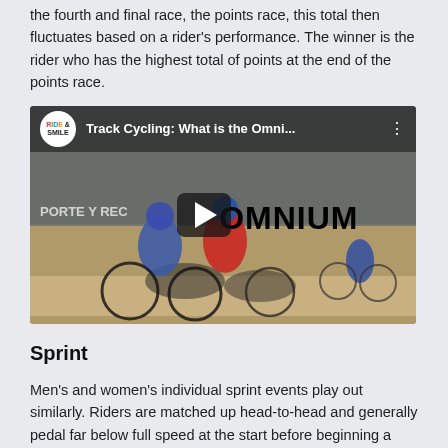the fourth and final race, the points race, this total then fluctuates based on a rider's performance. The winner is the rider who has the highest total of points at the end of the points race.
[Figure (screenshot): YouTube video thumbnail for 'Track Cycling: What is the Omni...' by Ride & Smile channel, showing cyclists racing on a velodrome track with a play button overlay and the text OMNIUM.]
Sprint
Men's and women's individual sprint events play out similarly. Riders are matched up head-to-head and generally pedal far below full speed at the start before beginning a sudden sprint or